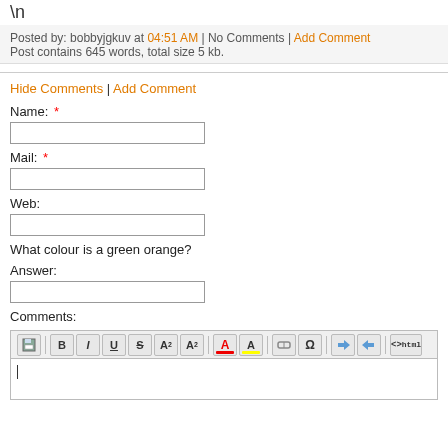\n
Posted by: bobbyjgkuv at 04:51 AM | No Comments | Add Comment
Post contains 645 words, total size 5 kb.
Hide Comments | Add Comment
Name: *
Mail: *
Web:
What colour is a green orange?
Answer:
Comments:
[Figure (screenshot): Rich text editor toolbar with formatting buttons: save, bold, italic, underline, strikethrough, superscript, subscript, font color, highlight, link, special chars, undo, redo, html toggle]